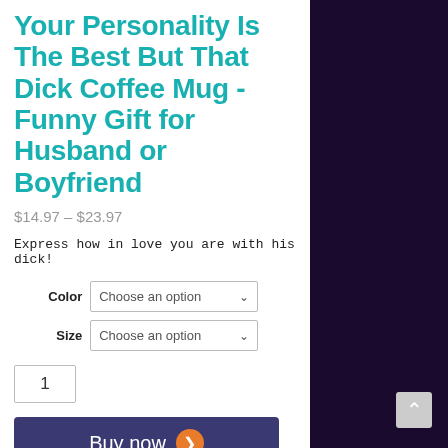Your Personality Is The Best But That Dick Coffee Mug - Funny Gift for Husband or Boyfriend
$14.97 – $23.97
Express how in love you are with his dick!
Color: Choose an option | Size: Choose an option
1
Buy now
— OR —